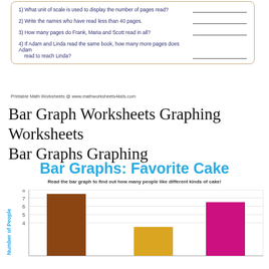1) What unit of scale is used to display the number of pages read?
2) Write the names who have read less than 40 pages.
3) How many pages do Frank, Maria and Scott read in all?
4) If Adam and Linda read the same book, how many more pages does Adam read to reach Linda?
Printable Math Worksheets @ www.mathworksheets4kids.com
Bar Graph Worksheets Graphing Worksheets Bar Graphs Graphing
Bar Graphs: Favorite Cake
Read the bar graph to find out how many people like different kinds of cake!
[Figure (bar-chart): Bar Graphs: Favorite Cake]